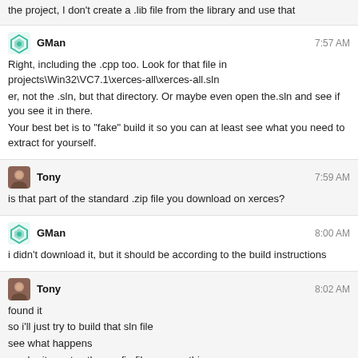the project, I don't create a .lib file from the library and use that
GMan 7:57 AM
Right, including the .cpp too. Look for that file in projects\Win32\VC7.1\xerces-all\xerces-all.sln
er, not the .sln, but that directory. Or maybe even open the.sln and see if you see it in there.
Your best bet is to "fake" build it so you can at least see what you need to extract for yourself.
Tony 7:59 AM
is that part of the standard .zip file you download on xerces?
GMan 8:00 AM
i didn't download it, but it should be according to the build instructions
Tony 8:02 AM
found it
so i'll just try to build that sln file
see what happens
maybe it creates the config file or something
GMan 8:04 AM
ya
Tony 8:28 AM
it fixed it
:) @Gman